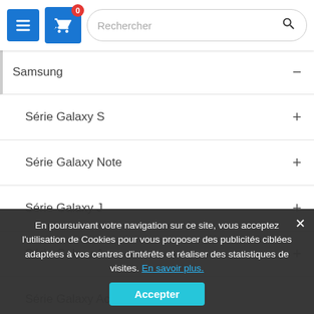Rechercher — navigation header with menu, cart (0), and search bar
Samsung —
Série Galaxy S +
Série Galaxy Note +
Série Galaxy J +
Série Galaxy A +
Série Galaxy Ace
Galaxy Alpha G850
Série Galaxy Core +
Série Galaxy M —
M31 (M315F)
M30s (M307F)
M21 (M215F)
Huawei +
Sony +
En poursuivant votre navigation sur ce site, vous acceptez l'utilisation de Cookies pour vous proposer des publicités ciblées adaptées à vos centres d'intérêts et réaliser des statistiques de visites. En savoir plus. Accepter